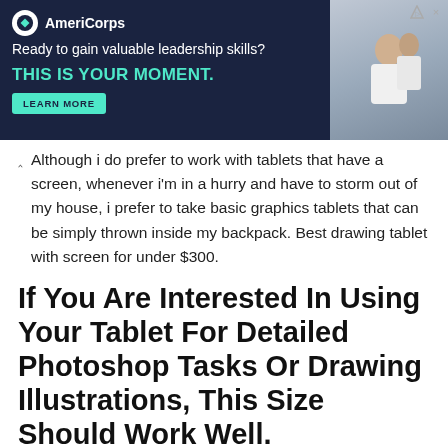[Figure (screenshot): AmeriCorps advertisement banner with dark navy background. Logo and text: 'Ready to gain valuable leadership skills? THIS IS YOUR MOMENT.' with a teal LEARN MORE button. Right side shows a photo of people.]
Although i do prefer to work with tablets that have a screen, whenever i'm in a hurry and have to storm out of my house, i prefer to take basic graphics tablets that can be simply thrown inside my backpack. Best drawing tablet with screen for under $300.
If You Are Interested In Using Your Tablet For Detailed Photoshop Tasks Or Drawing Illustrations, This Size Should Work Well.
I've been looking around and find myself hesitant on buying any model as all of them have at least a few bad reviews. One main advantage for beginners is that the intuos pro has a textured surface with resistance. Ipad pro 12.9 (2018) will be the best tablet for comics if you are looking for a tablet with a large and bright screen.
Besides Creating More Room For You To Draw, It Provides Sufficient